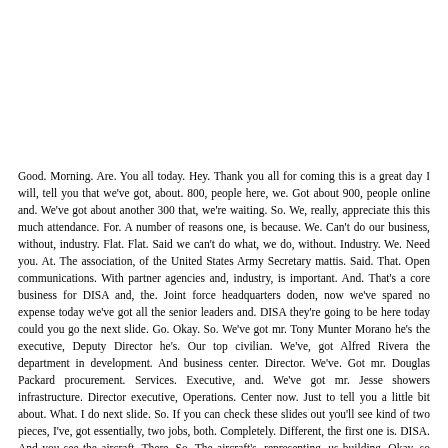Good. Morning. Are. You all today. Hey. Thank you all for coming this is a great day I will, tell you that we've got, about. 800, people here, we. Got about 900, people online and. We've got about another 300 that, we're waiting. So. We, really, appreciate this this much attendance. For. A number of reasons one, is because. We. Can't do our business, without, industry. Flat. Flat. Said we can't do what, we do, without. Industry. We. Need you. At. The association, of the United States Army Secretary mattis. Said. That. Open communications. With partner agencies and, industry, is important. And. That's a core business for DISA and, the. Joint force headquarters doden, now we've spared no expense today we've got all the senior leaders and. DISA they're going to be here today could you go the next slide. Go. Okay. So. We've got mr. Tony Munter Morano he's the executive, Deputy Director he's. Our top civilian. We've, got Alfred Rivera the department in development. And business center. Director. We've. Got mr. Douglas Packard procurement. Services. Executive, and. We've got mr. Jesse showers infrastructure. Director executive, Operations. Center now. Just to tell you a little bit about. What. I do next slide. So. If you can check these slides out you'll see kind of two pieces, I've, got essentially, two jobs, both. Completely. Different, the first one is. DISA. And you see the aircraft. There. So. The aircraft's, representing, us building. Okay, so that's the build function. That's. Boeing, so. We're building